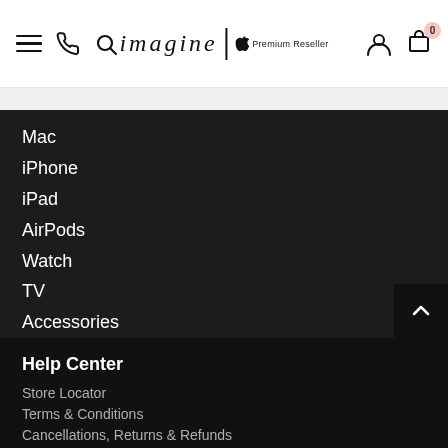[Figure (logo): Imagine Apple Premium Reseller logo in header]
Mac
iPhone
iPad
AirPods
Watch
TV
Accessories
Help Center
Store Locator
Terms & Conditions
Cancellations, Returns & Refunds